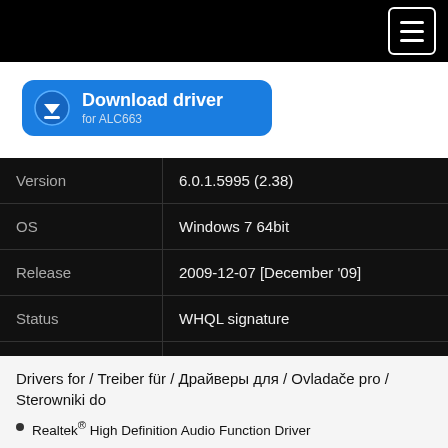[Figure (screenshot): Top navigation bar with hamburger menu icon on black background]
[Figure (other): Download driver button for ALC663 in blue rounded rectangle with download icon]
| Version | 6.0.1.5995 (2.38) |
| OS | Windows 7 64bit |
| Release | 2009-12-07 [December '09] |
| Status | WHQL signature |
| File | vista_win7_r238.exe |
| Downloaded | 7045× |
Drivers for / Treiber für / Драйверы для / Ovladače pro / Sterowniki do
Realtek® High Definition Audio Function Driver